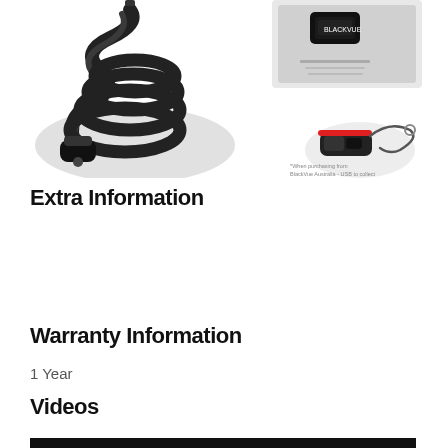[Figure (photo): Product photos showing a BlackVue car charger cable (coiled black cable with car plug), a BlackVue device/box (top right), and a small red-and-black USB accessory with lanyard (bottom right).]
Extra Information
| Brand: |
| --- |
| Blackvue |
Warranty Information
1 Year
Videos